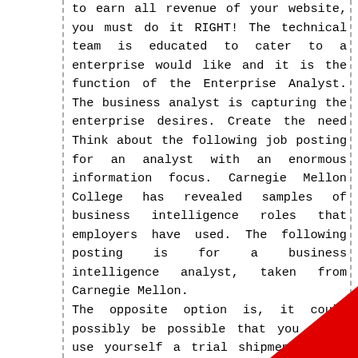to earn all revenue of your website, you must do it RIGHT! The technical team is educated to cater to a enterprise would like and it is the function of the Enterprise Analyst. The business analyst is capturing the enterprise desires. Create the need Think about the following job posting for an analyst with an enormous information focus. Carnegie Mellon College has revealed samples of business intelligence roles that employers have used. The following posting is for a business intelligence analyst, taken from Carnegie Mellon.
The opposite option is, it could possibly be possible that you might use yourself a trial shipment is to generally test a service of a company. You'll want to of course do your individual evaluation which would be one of the best company to deal with. Once satisfied you can regularize your shipments.
[Figure (illustration): Red triangle/arrow shape in bottom-right corner of page]